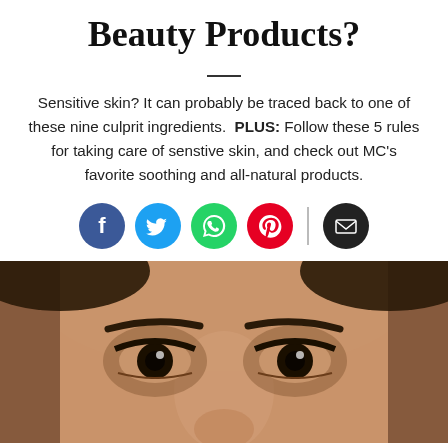Beauty Products?
Sensitive skin? It can probably be traced back to one of these nine culprit ingredients. PLUS: Follow these 5 rules for taking care of senstive skin, and check out MC's favorite soothing and all-natural products.
[Figure (infographic): Social sharing icons: Facebook (blue), Twitter (blue), WhatsApp (green), Pinterest (red), vertical divider, Email (black)]
[Figure (photo): Close-up photo of a woman's face showing her eyes and forehead, with smooth brown skin, dark eyebrows, and dark eyes against a white background]